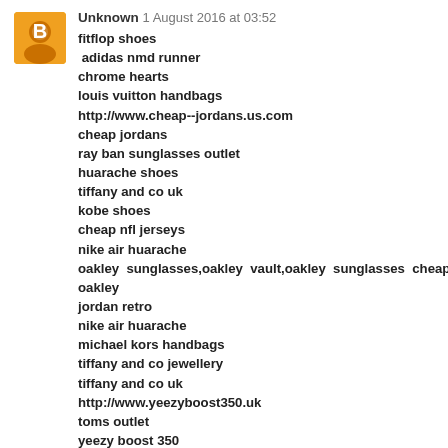Unknown  1 August 2016 at 03:52
fitflop shoes
adidas nmd runner
chrome hearts
louis vuitton handbags
http://www.cheap--jordans.us.com
cheap jordans
ray ban sunglasses outlet
huarache shoes
tiffany and co uk
kobe shoes
cheap nfl jerseys
nike air huarache
oakley  sunglasses,oakley  vault,oakley  sunglasses  cheap,oakle
oakley
jordan retro
nike air huarache
michael kors handbags
tiffany and co jewellery
tiffany and co uk
http://www.yeezyboost350.uk
toms outlet
yeezy boost 350
kobe shoes,kobe zoom,kobe byrant shoes
oakley store online
yeezy boost
http://www.oakleyoutlet-store.com